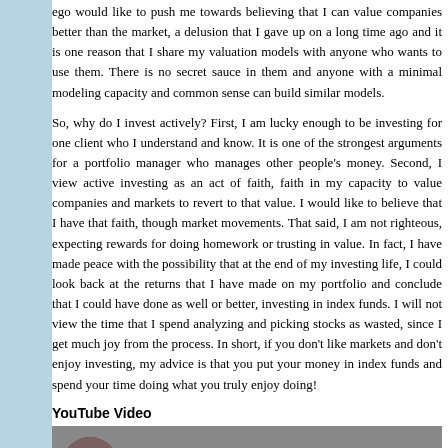ego would like to push me towards believing that I can value companies better than the market, a delusion that I gave up on a long time ago and it is one reason that I share my valuation models with anyone who wants to use them. There is no secret sauce in them and anyone with a minimal modeling capacity and common sense can build similar models.

So, why do I invest actively? First, I am lucky enough to be investing for one client who I understand and know. It is one of the strongest arguments for a portfolio manager who manages other people's money. Second, I view active investing as an act of faith, faith in my capacity to value companies and markets to revert to that value. I would like to believe that I have that faith, though market movements. That said, I am not righteous, expecting rewards for doing homework or trusting in value. In fact, I have made peace with the possibility that at the end of my investing life, I could look back at the returns that I have made on my portfolio and conclude that I could have done as well or better, investing in index funds. I will not view the time that I spend analyzing and picking stocks as wasted, since I get much joy from the process. In short, if you don't like markets and don't enjoy investing, my advice is that you put your money in index funds and spend your time doing what you truly enjoy doing!
YouTube Video
[Figure (screenshot): YouTube video thumbnail showing a circular avatar photo of a man and the title text 'Active Investing: Rest in Peace or Resurr...' on a gray background with a teal bar at the bottom.]